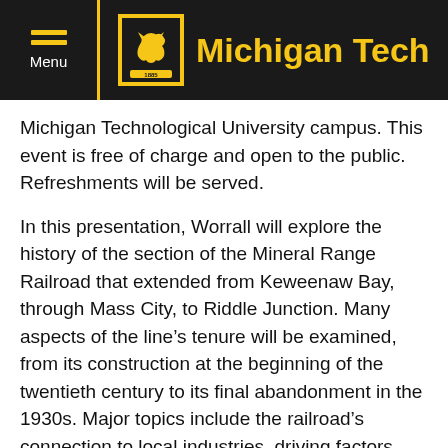Michigan Tech
Michigan Technological University campus. This event is free of charge and open to the public. Refreshments will be served.
In this presentation, Worrall will explore the history of the section of the Mineral Range Railroad that extended from Keweenaw Bay, through Mass City, to Riddle Junction. Many aspects of the line’s tenure will be examined, from its construction at the beginning of the twentieth century to its final abandonment in the 1930s. Major topics include the railroad’s connection to local industries, driving factors behind the line’s installation, complications faced during construction of the branch, passenger train